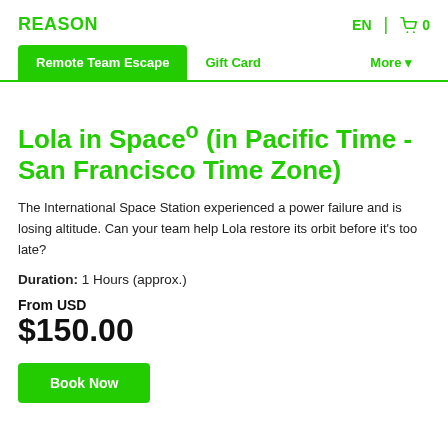REASON
EN  0
Remote Team Escape  Gift Card  More
Lola in Space° (in Pacific Time - San Francisco Time Zone)
The International Space Station experienced a power failure and is losing altitude. Can your team help Lola restore its orbit before it's too late?
Duration: 1 Hours (approx.)
From USD $150.00